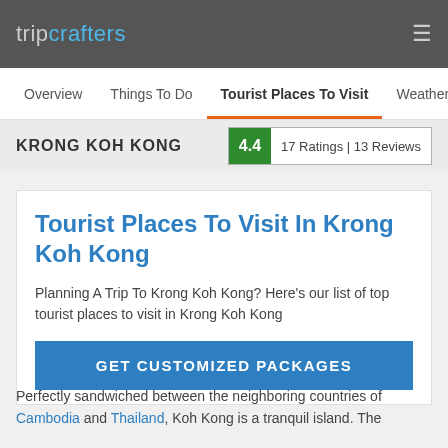tripcrafters
Overview  Things To Do  Tourist Places To Visit  Weather &
KRONG KOH KONG  4.4  17 Ratings | 13 Reviews
Tourist Places To Visit In Krong Koh Kong
Planning A Trip To Krong Koh Kong? Here's our list of top tourist places to visit in Krong Koh Kong
GET CUSTOMIZED PACKAGES
Perfectly sandwiched between the neighboring countries of Cambodia and Thailand, Koh Kong is a tranquil island. The